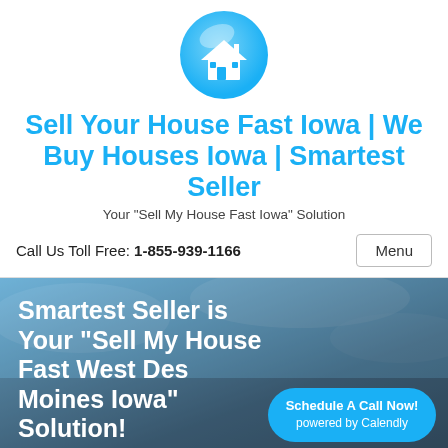[Figure (logo): Blue circular logo with a white house icon inside, representing a real estate company]
Sell Your House Fast Iowa | We Buy Houses Iowa | Smartest Seller
Your "Sell My House Fast Iowa" Solution
Call Us Toll Free: 1-855-939-1166    Menu
Smartest Seller is Your “Sell My House Fast West Des Moines Iowa” Solution! We Buy Houses West Des Moines Iowa
Schedule A Call Now! powered by Calendly
No Fees. No Commissions. Put More Cash In Your